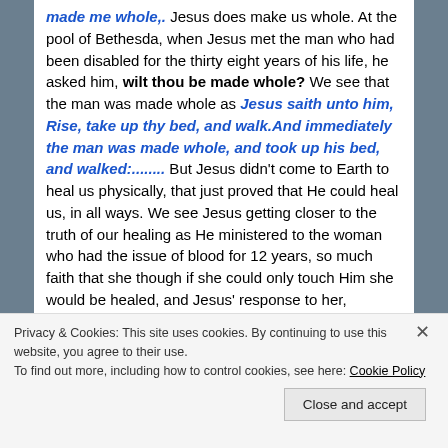made me whole,. Jesus does make us whole. At the pool of Bethesda, when Jesus met the man who had been disabled for the thirty eight years of his life, he asked him, wilt thou be made whole? We see that the man was made whole as Jesus saith unto him, Rise, take up thy bed, and walk.And immediately the man was made whole, and took up his bed, and walked:........ But Jesus didn't come to Earth to heal us physically, that just proved that He could heal us, in all ways. We see Jesus getting closer to the truth of our healing as He ministered to the woman who had the issue of blood for 12 years, so much faith that she though if she could only touch Him she would be healed, and Jesus' response to her, Daughter, thy faith hath made thee whole.
Privacy & Cookies: This site uses cookies. By continuing to use this website, you agree to their use.
To find out more, including how to control cookies, see here: Cookie Policy